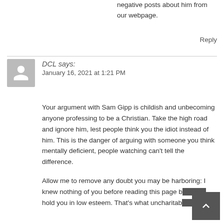negative posts about him from our webpage.
Reply
DCL says:
January 16, 2021 at 1:21 PM
Your argument with Sam Gipp is childish and unbecoming anyone professing to be a Christian. Take the high road and ignore him, lest people think you the idiot instead of him. This is the danger of arguing with someone you think mentally deficient, people watching can't tell the difference.
Allow me to remove any doubt you may be harboring: I knew nothing of you before reading this page b... hold you in low esteem. That's what uncharitab...